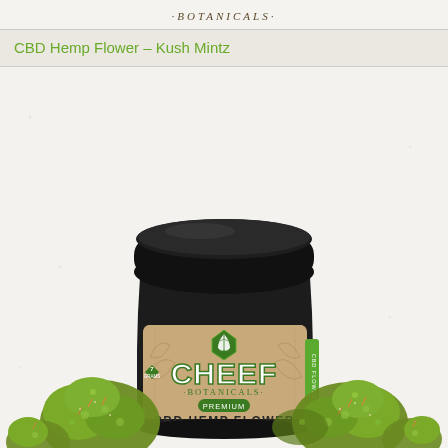·BOTANICALS·
CBD Hemp Flower – Kush Mintz
[Figure (photo): Product photo of Cheef Botanicals CBD Hemp Flower jar (7 grams, Premium) with dark glass jar, black lid, kraft paper label featuring the Cheef Botanicals logo and text 'CBD HEMP FLOWER'. Green cannabis buds/flower are displayed in front of and beside the jar on a light textured background.]